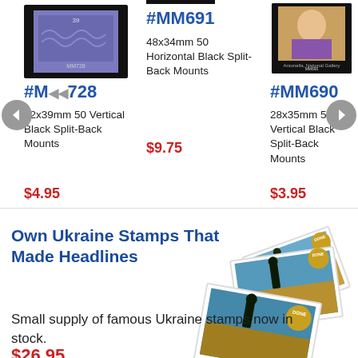[Figure (illustration): Purple 39-cent stamp labeled MM728 on black background]
#MM728
32x39mm 50 Vertical Black Split-Back Mounts
$4.95
#MM691
48x34mm 50 Horizontal Black Split-Back Mounts
$9.75
[Figure (illustration): MM690 stamp featuring Antonella, National Gallery artwork on black background]
#MM690
28x35mm 50 Vertical Black Split-Back Mounts
$3.95
Own Ukraine Stamps That Made Headlines
[Figure (illustration): Fan arrangement of three Ukrainian stamps showing soldier silhouette against sky with DONE gold badge seal]
Small supply of famous Ukraine stamps now in stock.
$26.95